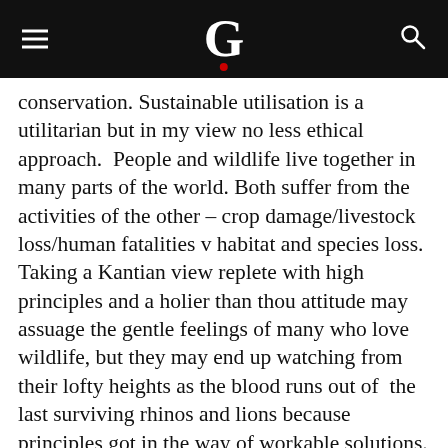G (Guardian logo)
conservation. Sustainable utilisation is a utilitarian but in my view no less ethical approach.  People and wildlife live together in many parts of the world. Both suffer from the activities of the other – crop damage/livestock loss/human fatalities v habitat and species loss.  Taking a Kantian view replete with high principles and a holier than thou attitude may assuage the gentle feelings of many who love wildlife, but they may end up watching from their lofty heights as the blood runs out of  the last surviving rhinos and lions because principles got in the way of workable solutions.